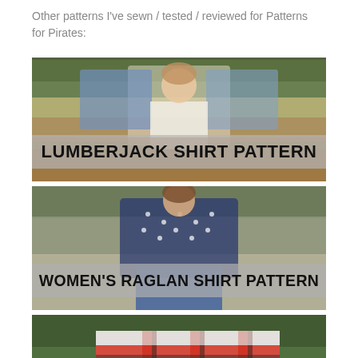Other patterns I've sewn / tested / reviewed for Patterns for Pirates:
[Figure (photo): Child outdoors holding up a patterned fabric/blanket with a hood, wearing a white shirt. Text overlay reads LUMBERJACK SHIRT PATTERN.]
[Figure (photo): Woman standing outdoors wearing a navy polka-dot raglan shirt and jeans. Text overlay reads WOMEN'S RAGLAN SHIRT PATTERN.]
[Figure (photo): Close-up of plaid/tartan palazzo pants fabric in red, white and blue check pattern. Text overlay reads STRAIGHT PALAZZOS PANTS.]